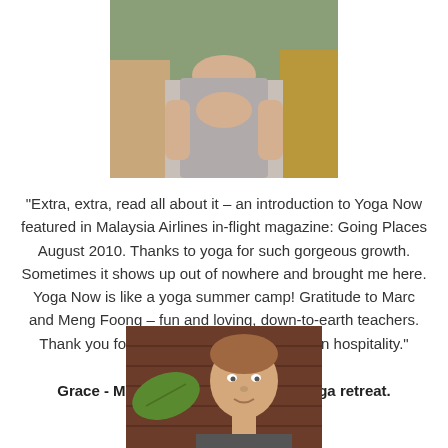[Figure (photo): Cropped photo of a woman in a grey tank top seated in a wicker chair with greenery in background]
"Extra, extra, read all about it – an introduction to Yoga Now featured in Malaysia Airlines in-flight magazine: Going Places August 2010. Thanks to yoga for such gorgeous growth. Sometimes it shows up out of nowhere and brought me here. Yoga Now is like a yoga summer camp! Gratitude to Marc and Meng Foong – fun and loving, down-to-earth teachers. Thank you for practices and your Malaysian hospitality."
Grace - Malaysia - 4 day intensive yoga retreat.
[Figure (photo): Photo of a man with short hair smiling, with tropical leaves and wooden wall background]